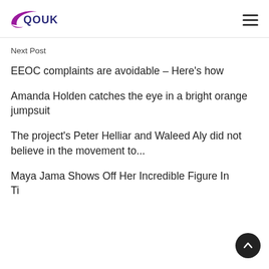QOUK
Next Post
EEOC complaints are avoidable – Here's how
Amanda Holden catches the eye in a bright orange jumpsuit
The project's Peter Helliar and Waleed Aly did not believe in the movement to...
Maya Jama Shows Off Her Incredible Figure In Tight United At Grands for You